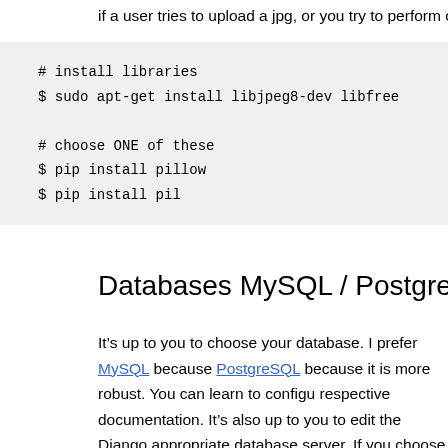if a user tries to upload a jpg, or you try to perform certain imag
# install libraries
$ sudo apt-get install libjpeg8-dev libfree

# choose ONE of these
$ pip install pillow
$ pip install pil
Databases MySQL / PostgreSQL
It’s up to you to choose your database. I prefer MySQL because PostgreSQL because it is more robust. You can learn to configu respective documentation. It’s also up to you to edit the Django appropriate database server. If you choose MySQL, you should the default character set, utf8_general_ci is the default collation storage engine.